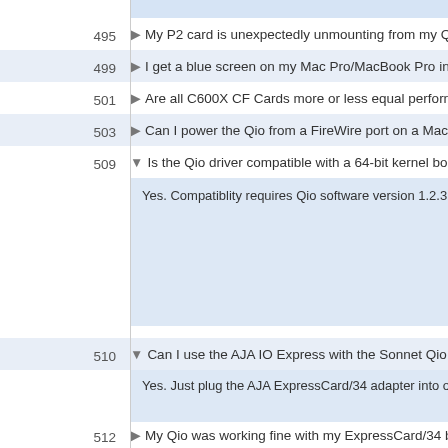495 ▶ My P2 card is unexpectedly unmounting from my Qio after
499 ▶ I get a blue screen on my Mac Pro/MacBook Pro instead of
501 ▶ Are all C600X CF Cards more or less equal performance in
503 ▶ Can I power the Qio from a FireWire port on a MacBook Pr
509 ▼ Is the Qio driver compatible with a 64-bit kernel boot of OS
Yes. Compatiblity requires Qio software version 1.2.3 or la
510 ▼ Can I use the AJA IO Express with the Sonnet Qio in a Mac
Yes. Just plug the AJA ExpressCard/34 adapter into one of
512 ▶ My Qio was working fine with my ExpressCard/34 bus inter